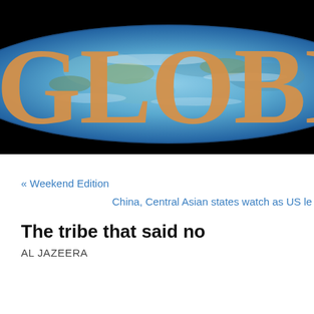[Figure (logo): GLOBEIST website header banner with large orange serif letters 'GLOBE' (partially cropped, cut off at right edge showing 'GLOBEIS') overlaid on a blue Earth globe ellipse against a black background]
« Weekend Edition
China, Central Asian states watch as US le
The tribe that said no
AL JAZEERA